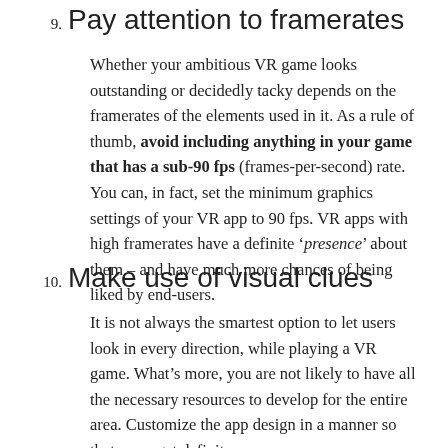9. Pay attention to framerates
Whether your ambitious VR game looks outstanding or decidedly tacky depends on the framerates of the elements used in it. As a rule of thumb, avoid including anything in your game that has a sub-90 fps (frames-per-second) rate. You can, in fact, set the minimum graphics settings of your VR app to 90 fps. VR apps with high framerates have a definite 'presence' about them – and have much more chances of being liked by end-users.
10. Make use of visual clues
It is not always the smartest option to let users look in every direction, while playing a VR game. What's more, you are not likely to have all the necessary resources to develop for the entire area. Customize the app design in a manner so that users get definite